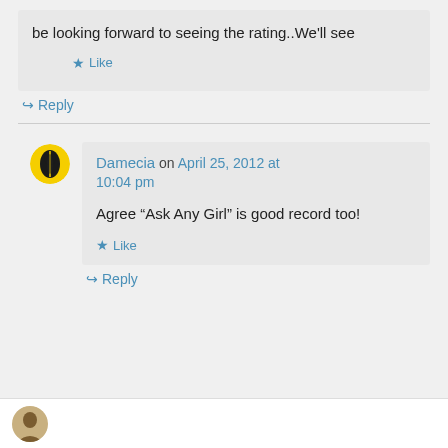be looking forward to seeing the rating..We'll see
★ Like
↪ Reply
Damecia on April 25, 2012 at 10:04 pm
Agree “Ask Any Girl” is good record too!
★ Like
↪ Reply